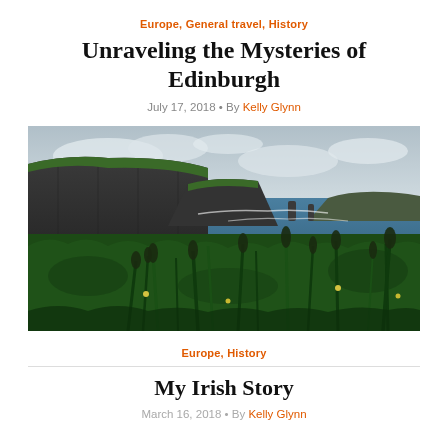Europe, General travel, History
Unraveling the Mysteries of Edinburgh
July 17, 2018 • By Kelly Glynn
[Figure (photo): Coastal cliffs with lush green grass and wildflowers in the foreground, steep dark rocky cliffs dropping to the sea in the background under a cloudy sky — Cliffs of Moher, Ireland]
Europe, History
My Irish Story
March 16, 2018 • By Kelly Glynn